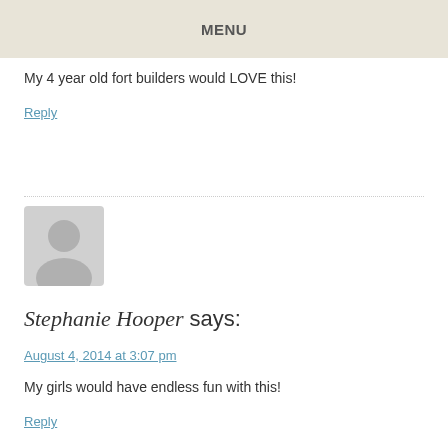MENU
My 4 year old fort builders would LOVE this!
Reply
[Figure (illustration): Default user avatar placeholder — gray silhouette of a person on a light gray square background]
Stephanie Hooper says:
August 4, 2014 at 3:07 pm
My girls would have endless fun with this!
Reply